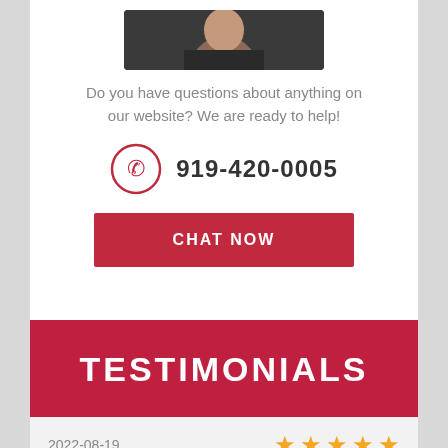[Figure (photo): Partial photo of a person cropped at top of card section]
Do you have questions about anything on our website? We are ready to help!
919-420-0005
CHAT NOW
TESTIMONIALS
2022-08-19
★★★★★
Got my nursery furniture delivered this